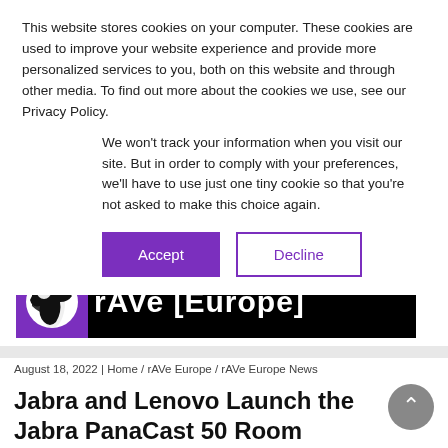This website stores cookies on your computer. These cookies are used to improve your website experience and provide more personalized services to you, both on this website and through other media. To find out more about the cookies we use, see our Privacy Policy.
We won't track your information when you visit our site. But in order to comply with your preferences, we'll have to use just one tiny cookie so that you're not asked to make this choice again.
Accept
Decline
[Figure (logo): rAVe [Europe] logo — black banner with white bold text 'rAVe [Europe]' and purple globe icon on left]
August 18, 2022 | Home / rAVe Europe / rAVe Europe News
Jabra and Lenovo Launch the Jabra PanaCast 50 Room System for